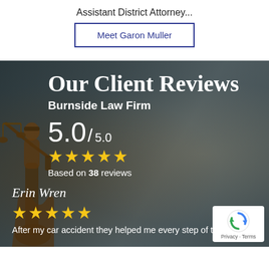Assistant District Attorney...
Meet Garon Muller
[Figure (photo): Dark background photo of a Lady Justice statue on the left and a person working at a laptop on the right, used as the background for the client reviews section.]
Our Client Reviews
Burnside Law Firm
5.0 / 5.0
★★★★★
Based on 38 reviews
Erin Wren
★★★★★
After my car accident they helped me every step of the way!